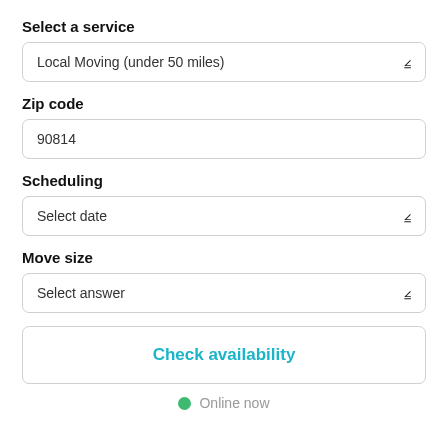Select a service
Local Moving (under 50 miles)
Zip code
90814
Scheduling
Select date
Move size
Select answer
Check availability
Online now